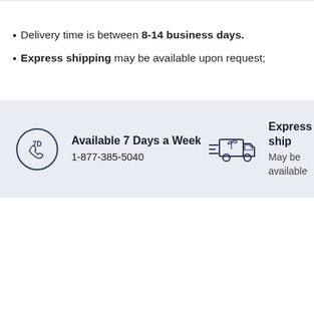Delivery time is between 8-14 business days.
Express shipping may be available upon request;
Available 7 Days a Week
1-877-385-5040
Express ship
May be available